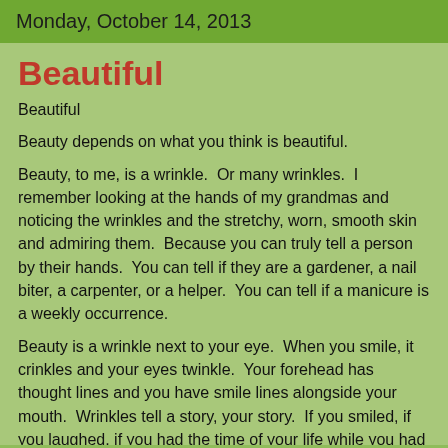Monday, October 14, 2013
Beautiful
Beautiful
Beauty depends on what you think is beautiful.
Beauty, to me, is a wrinkle.  Or many wrinkles.  I remember looking at the hands of my grandmas and noticing the wrinkles and the stretchy, worn, smooth skin and admiring them.  Because you can truly tell a person by their hands.  You can tell if they are a gardener, a nail biter, a carpenter, or a helper.  You can tell if a manicure is a weekly occurrence.
Beauty is a wrinkle next to your eye.  When you smile, it crinkles and your eyes twinkle.  Your forehead has thought lines and you have smile lines alongside your mouth.  Wrinkles tell a story, your story.  If you smiled, if you laughed, if you had the time of your life while you had your life to live.  I celebrate wrinkles. I celebrate that you can keep your wrinkles and who cares if people know you age.  Who cares if they know you didn't have time to put anti-wrinkle cream on your face.  If you look your